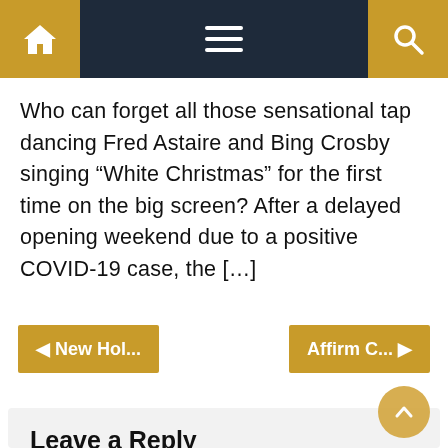Navigation bar with home, menu, and search icons
Who can forget all those sensational tap dancing Fred Astaire and Bing Crosby singing “White Christmas” for the first time on the big screen? After a delayed opening weekend due to a positive COVID-19 case, the [...]
◄ New Hol...
Affirm C... ►
Leave a Reply
Your email address will not be published. Required fields are marked *
Comment *